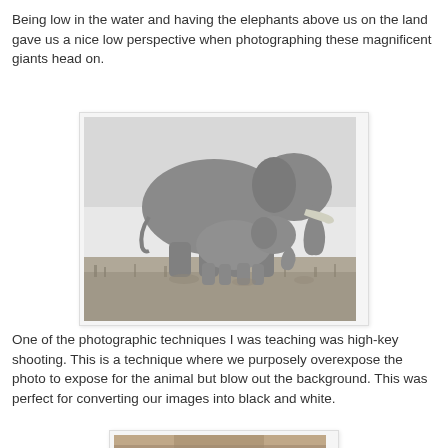Being low in the water and having the elephants above us on the land gave us a nice low perspective when photographing these magnificent giants head on.
[Figure (photo): Black and white photograph of a large adult elephant and a baby elephant calf walking together in savanna grassland, viewed from a low angle.]
One of the photographic techniques I was teaching was high-key shooting. This is a technique where we purposely overexpose the photo to expose for the animal but blow out the background. This was perfect for converting our images into black and white.
[Figure (photo): Partial view of another photograph at the bottom of the page, appears to show an animal in a natural setting.]